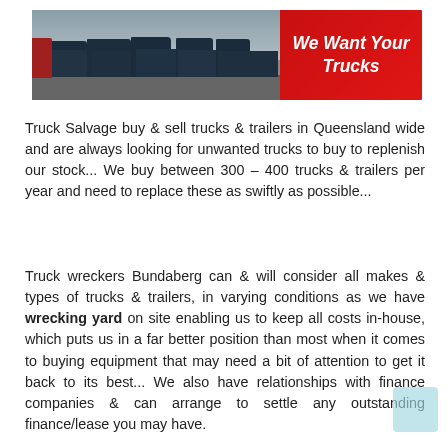[Figure (photo): Banner image: left side shows a row of Scania trucks parked in a yard (photograph), right side is a red panel with italic bold white text 'We Want Your Trucks']
Truck Salvage buy & sell trucks & trailers in Queensland wide and are always looking for unwanted trucks to buy to replenish our stock... We buy between 300 – 400 trucks & trailers per year and need to replace these as swiftly as possible...
Truck wreckers Bundaberg can & will consider all makes & types of trucks & trailers, in varying conditions as we have wrecking yard on site enabling us to keep all costs in-house, which puts us in a far better position than most when it comes to buying equipment that may need a bit of attention to get it back to its best... We also have relationships with finance companies & can arrange to settle any outstanding finance/lease you may have.